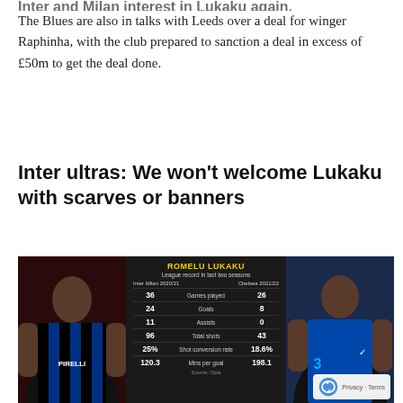The Blues are also in talks with Leeds over a deal for winger Raphinha, with the club prepared to sanction a deal in excess of £50m to get the deal done.
Inter ultras: We won't welcome Lukaku with scarves or banners
[Figure (infographic): Split image showing Romelu Lukaku in Inter Milan kit (left) and Chelsea kit (right) with a central dark infographic panel showing his league stats for Inter Milan 2020/21 vs Chelsea 2021/22. Stats: Games played 36 vs 26; Goals 24 vs 8; Assists 11 vs 0; Total shots 96 vs 43; Shot conversion rate 25% vs 18.6%; Mins per goal 120.3 vs 198.1. Source: Opta.]